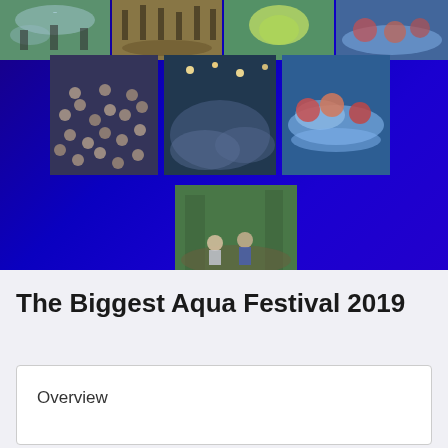[Figure (photo): Collage of festival/event photos on dark blue background: crowd with water splashing (top row), large crowd at night event, water sports/swimming race, people relaxing outdoors]
The Biggest Aqua Festival 2019
Overview